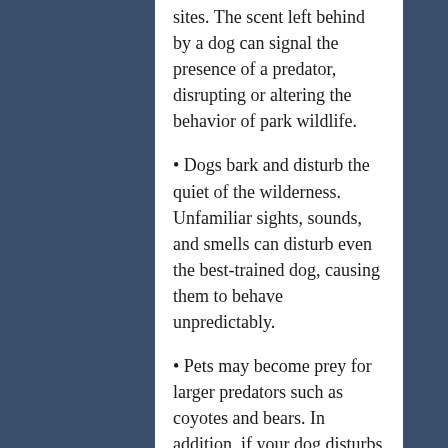sites. The scent left behind by a dog can signal the presence of a predator, disrupting or altering the behavior of park wildlife.
• Dogs bark and disturb the quiet of the wilderness. Unfamiliar sights, sounds, and smells can disturb even the best-trained dog, causing them to behave unpredictably.
• Pets may become prey for larger predators such as coyotes and bears. In addition, if your dog disturbs and enrages a bear, it may lead the angry bear directly to you. Dogs can also encounter insects that bite and transmit disease and plants that are